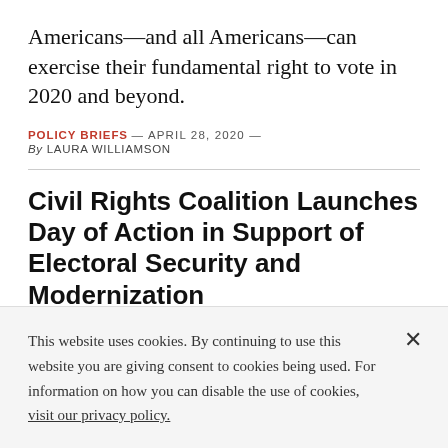Americans—and all Americans—can exercise their fundamental right to vote in 2020 and beyond.
POLICY BRIEFS — APRIL 28, 2020 — By LAURA WILLIAMSON
Civil Rights Coalition Launches Day of Action in Support of Electoral Security and Modernization
This website uses cookies. By continuing to use this website you are giving consent to cookies being used. For information on how you can disable the use of cookies, visit our privacy policy.